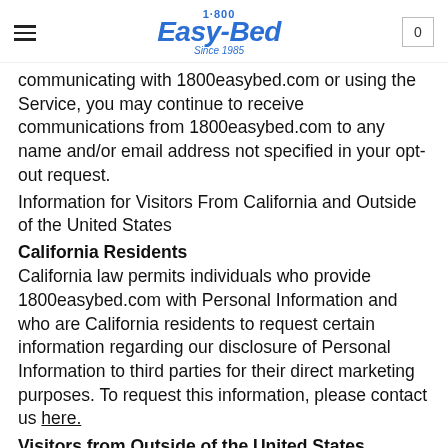1·800 Easy-Bed Since 1985
communicating with 1800easybed.com or using the Service, you may continue to receive communications from 1800easybed.com to any name and/or email address not specified in your opt-out request.
Information for Visitors From California and Outside of the United States
California Residents
California law permits individuals who provide 1800easybed.com with Personal Information and who are California residents to request certain information regarding our disclosure of Personal Information to third parties for their direct marketing purposes. To request this information, please contact us here.
Visitors from Outside of the United States
The Service is hosted in the United States. If you